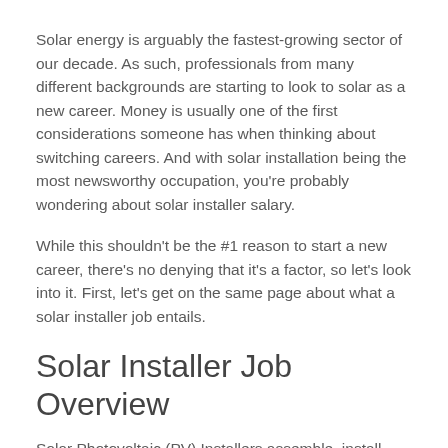Solar energy is arguably the fastest-growing sector of our decade. As such, professionals from many different backgrounds are starting to look to solar as a new career. Money is usually one of the first considerations someone has when thinking about switching careers. And with solar installation being the most newsworthy occupation, you're probably wondering about solar installer salary.
While this shouldn't be the #1 reason to start a new career, there's no denying that it's a factor, so let's look into it. First, let's get on the same page about what a solar installer job entails.
Solar Installer Job Overview
Solar Photovoltaic (PV) Installers assemble, install, and maintain solar panel systems on roofs or other structures in compliance with site assessment and